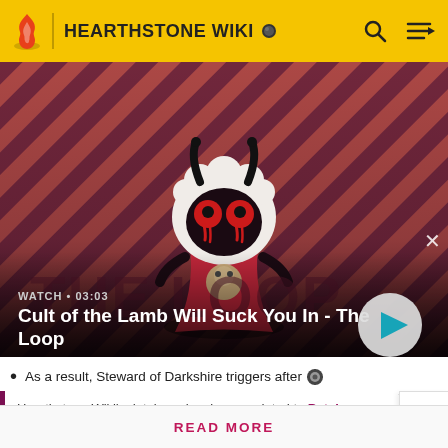HEARTHSTONE WIKI
[Figure (screenshot): Cult of the Lamb animated character on diagonal red/purple striped background. Video thumbnail with WATCH • 03:03 label and title 'Cult of the Lamb Will Suck You In - The Loop'. Play button on right. Close X button top right.]
As a result, Steward of Darkshire triggers after
Hearthstone Wiki's database has been updated to Patch 24.0.0.145077!
READ MORE